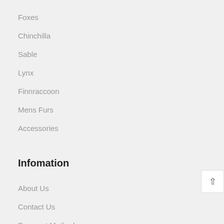Foxes
Chinchilla
Sable
Lynx
Finnraccoon
Mens Furs
Accessories
Infomation
About Us
Contact Us
Payment Methods
[Figure (screenshot): Orange speech bubble with text 'Questions ? Click here to contact us' and a blue chat bar at the bottom with 'Chat now' text and a close X button]